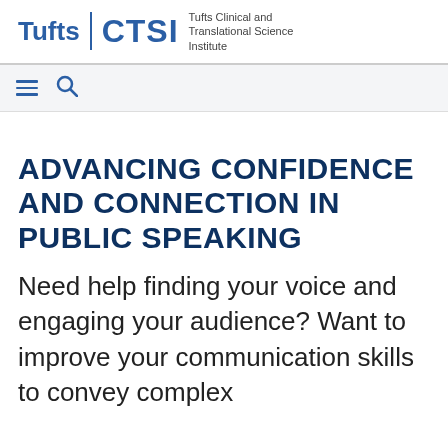Tufts | CTSI Tufts Clinical and Translational Science Institute
[Figure (logo): Tufts CTSI logo with text: Tufts | CTSI Tufts Clinical and Translational Science Institute]
ADVANCING CONFIDENCE AND CONNECTION IN PUBLIC SPEAKING
Need help finding your voice and engaging your audience? Want to improve your communication skills to convey complex